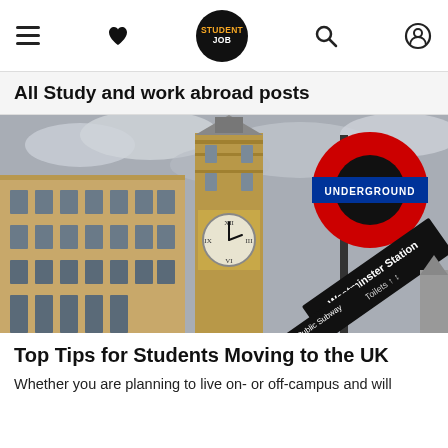StudentJob navigation bar with hamburger menu, heart icon, StudentJob logo, search and user icons
All Study and work abroad posts
[Figure (photo): Photograph of London: Big Ben clock tower on the left and a London Underground sign for Westminster Station (with 'Public Subway' and 'Toilets' signs) on the right, against a cloudy sky.]
Top Tips for Students Moving to the UK
Whether you are planning to live on- or off-campus and will